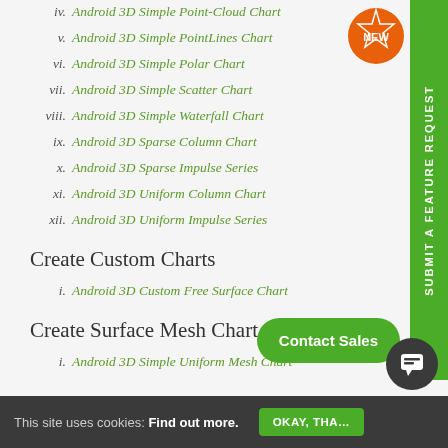iv. Android 3D Simple Point-Cloud Chart
v. Android 3D Simple PointLines Chart
vi. Android 3D Simple Polar Chart
vii. Android 3D Simple Scatter Chart
viii. Android 3D Simple Waterfall Chart
ix. Android 3D Sparse Column Chart
x. Android 3D Sparse Impulse Series
xi. Android 3D Uniform Column Chart
xii. Android 3D Uniform Impulse Series
Create Custom Charts
i. Android 3D Custom Free Surface Chart
Create Surface Mesh Chart
i. Android 3D Simple Uniform Mesh Chart
This site uses cookies: Find out more.